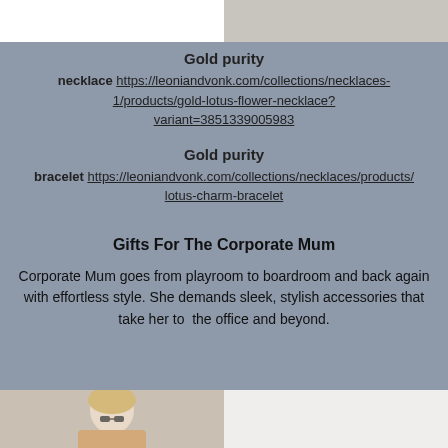[Figure (photo): Top portion of two side-by-side product images, left white background, right grey/beige background]
Gold purity
necklace https://leoniandvonk.com/collections/necklaces-1/products/gold-lotus-flower-necklace?variant=3851339005983
Gold purity
bracelet https://leoniandvonk.com/collections/necklaces/products/lotus-charm-bracelet
Gifts For The Corporate Mum
Corporate Mum goes from playroom to boardroom and back again with effortless style. She demands sleek, stylish accessories that take her to  the office and beyond.
[Figure (photo): Bottom portion of two side-by-side images: left shows a blonde woman with glasses, right shows a white/light background]